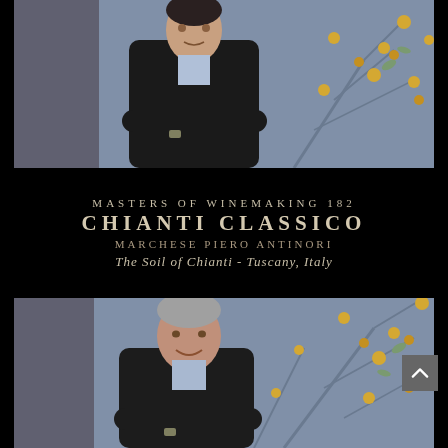[Figure (photo): Younger man in dark suit with arms crossed, standing in front of a decorative floral mural with blue-grey background and golden yellow flowers]
MASTERS OF WINEMAKING 182
CHIANTI CLASSICO
MARCHESE PIERO ANTINORI
The Soil of Chianti - Tuscany, Italy
[Figure (photo): Older man (Marchese Piero Antinori) in dark blazer with light blue shirt, arms crossed, smiling, standing in front of same decorative floral mural with blue-grey and golden yellow motifs]